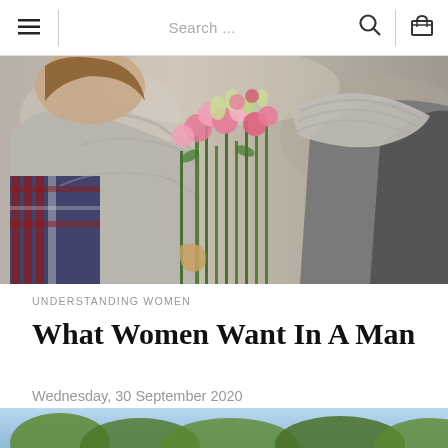Navigation bar with hamburger menu, search field, search icon, and cart icon
[Figure (photo): A woman in a grey knit sweater and plaid scarf receiving a bouquet of pink and white carnations from a man in a grey sweater, photographed from the side in an outdoor setting.]
UNDERSTANDING WOMEN
What Women Want In A Man
Wednesday, 30 September 2020
[Figure (photo): Partial bottom image showing trees and sky, beginning of another article or section image.]